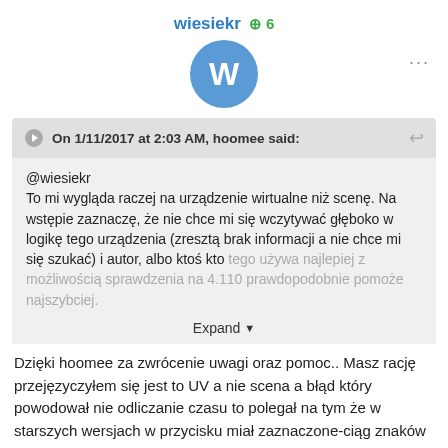wiesiekr  +6
[Figure (illustration): Blue circular avatar with white letter W]
On 1/11/2017 at 2:03 AM, hoomee said:
@wiesiekr
To mi wygląda raczej na urządzenie wirtualne niż scenę. Na wstępie zaznaczę, że nie chce mi się wczytywać głęboko w logikę tego urządzenia (zresztą brak informacji a nie chce mi się szukać) i autor, albo ktoś kto tego używa najlepiej z możliwością sprawdzenia na 4.110 prawdopodobnie pomoże najszybciej.
Expand
Dzięki hoomee za zwrócenie uwagi oraz pomoc.. Masz rację przejęzyczyłem się jest to UV a nie scena a błąd który powodował nie odliczanie czasu to polegał na tym że w starszych wersjach w przycisku miał zaznaczone-ciąg znaków